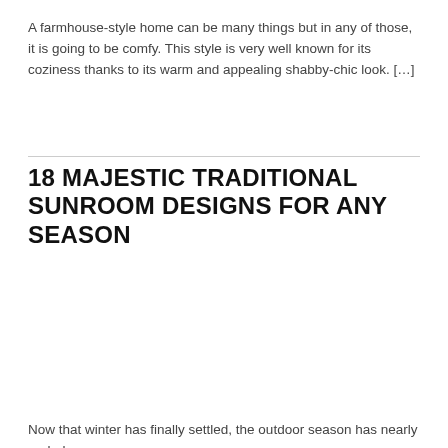A farmhouse-style home can be many things but in any of those, it is going to be comfy. This style is very well known for its coziness thanks to its warm and appealing shabby-chic look. […]
18 MAJESTIC TRADITIONAL SUNROOM DESIGNS FOR ANY SEASON
[Figure (photo): Image placeholder for a traditional sunroom design]
Now that winter has finally settled, the outdoor season has nearly ended.